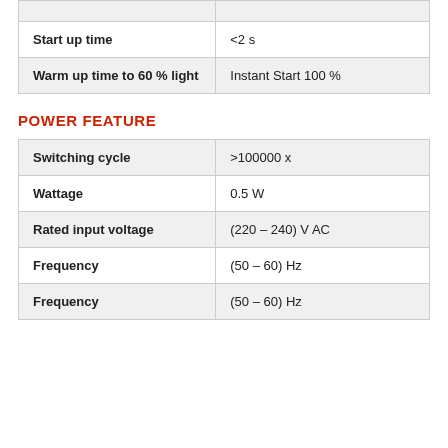| Property | Value |
| --- | --- |
| Start up time | <2 s |
| Warm up time to 60 % light | Instant Start 100 % |
POWER FEATURE
| Property | Value |
| --- | --- |
| Switching cycle | >100000 x |
| Wattage | 0.5 W |
| Rated input voltage | (220 – 240) V AC |
| Frequency | (50 – 60) Hz |
| Frequency | (50 – 60) Hz |